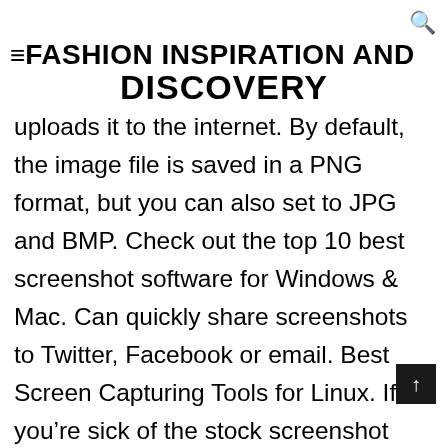≡FASHION INSPIRATION AND DISCOVERY
uploads it to the internet. By default, the image file is saved in a PNG format, but you can also set to JPG and BMP. Check out the top 10 best screenshot software for Windows & Mac. Can quickly share screenshots to Twitter, Facebook or email. Best Screen Capturing Tools for Linux. If you're sick of the stock screenshot app on your desktop, look no further than Shutter. In Linux, I almost use Shutter all the time. It is also possible if you want to blur certain area. Upload images to an FTP server after snapping 8… Can parse and take pictures of an entire